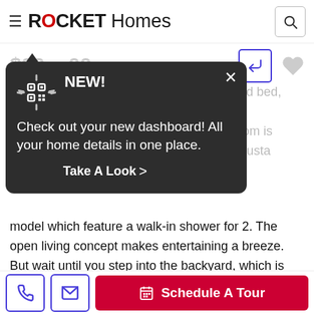ROCKET Homes
[Figure (screenshot): Rocket Homes app interface showing a property listing page with a tooltip/notification overlay saying 'NEW! Check out your new dashboard! All your home details in one place.' with a Take A Look link, overlapping blurred price and property description text about an Augusta model home with walk-in shower, open living concept, backyard with pool and spa, and Schedule A Tour button at the bottom.]
model which feature a walk-in shower for 2. The open living concept makes entertaining a breeze. But wait until you step into the backyard, which is where the real entertaining happens, with the spacious passive solar heated pool and spa, outdoor bar, etc. The garage is extended length which gives you added space. This home will be
Schedule A Tour